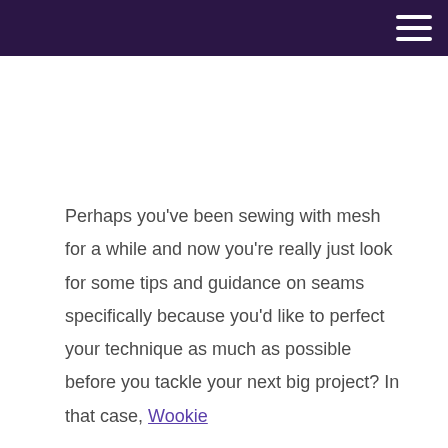Perhaps you've been sewing with mesh for a while and now you're really just look for some tips and guidance on seams specifically because you'd like to perfect your technique as much as possible before you tackle your next big project? In that case, Wookie